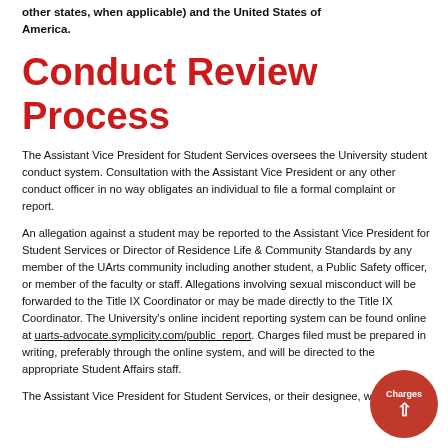other states, when applicable) and the United States of America.
Conduct Review Process
The Assistant Vice President for Student Services oversees the University student conduct system. Consultation with the Assistant Vice President or any other conduct officer in no way obligates an individual to file a formal complaint or report.
An allegation against a student may be reported to the Assistant Vice President for Student Services or Director of Residence Life & Community Standards by any member of the UArts community including another student, a Public Safety officer, or member of the faculty or staff. Allegations involving sexual misconduct will be forwarded to the Title IX Coordinator or may be made directly to the Title IX Coordinator. The University's online incident reporting system can be found online at uarts-advocate.symplicity.com/public_report. Charges filed must be prepared in writing, preferably through the online system, and will be directed to the appropriate Student Affairs staff.
The Assistant Vice President for Student Services, or their designee, will